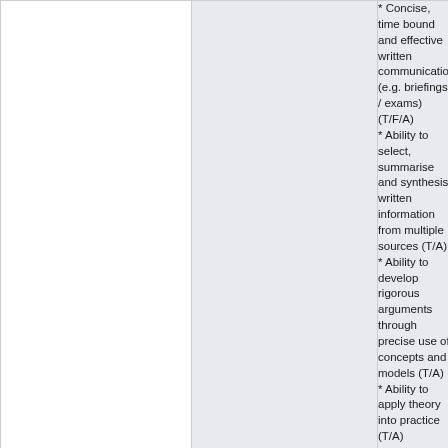* Concise, time bound and effective written communication (e.g. briefings / exams) (T/F/A)
* Ability to select, summarise and synthesis written information from multiple sources (T/A)
* Ability to develop rigorous arguments through precise use of concepts and models (T/A)
* Ability to apply theory into practice (T/A)
* Ability to select and use appropriate ideas to produce a coherent response to a pre-set question (T/A)
* Ability to